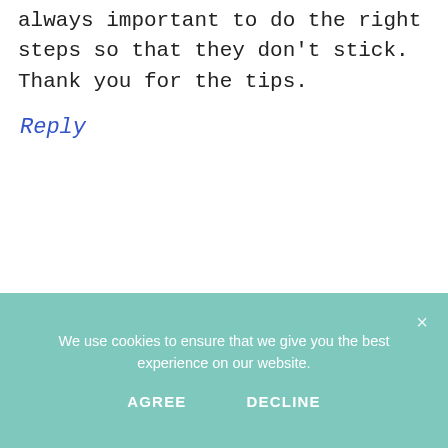always important to do the right steps so that they don't stick. Thank you for the tips.
Reply
We use cookies to ensure that we give you the best experience on our website.
AGREE
DECLINE